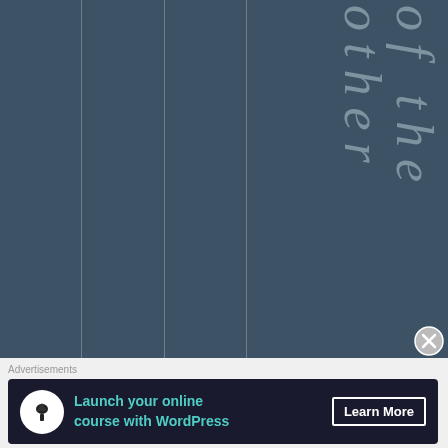[Figure (screenshot): Dark blue-grey striped background with vertical columns separated by thin white lines. On the right side, vertical italic text spells out 'of the other' letter by letter, one character per line, in a muted blue-grey color.]
Advertisements
[Figure (other): Advertisement banner: dark background with a white circle icon (tree/person silhouette), teal bold text 'Launch your online course with WordPress', and a 'Learn More' button with white border.]